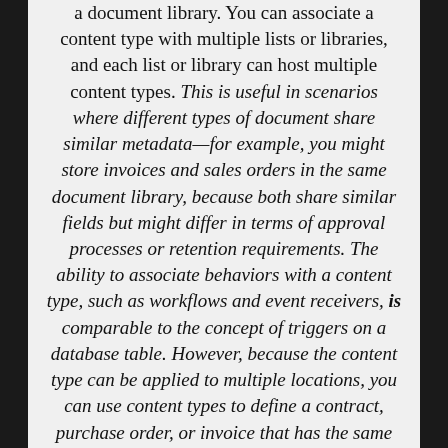a document library. You can associate a content type with multiple lists or libraries, and each list or library can host multiple content types. This is useful in scenarios where different types of document share similar metadata—for example, you might store invoices and sales orders in the same document library, because both share similar fields but might differ in terms of approval processes or retention requirements. The ability to associate behaviors with a content type, such as workflows and event receivers, is comparable to the concept of triggers on a database table. However, because the content type can be applied to multiple locations, you can use content types to define a contract, purchase order, or invoice that has the same metadata—and the same behavior—across